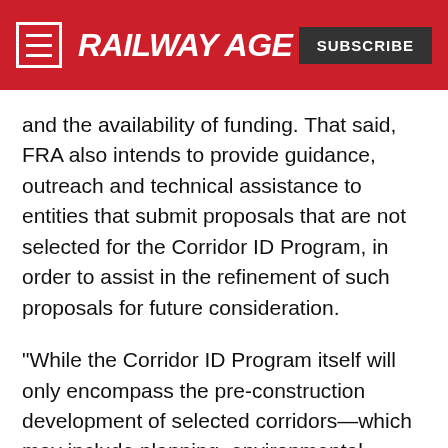RAILWAY AGE
and the availability of funding. That said, FRA also intends to provide guidance, outreach and technical assistance to entities that submit proposals that are not selected for the Corridor ID Program, in order to assist in the refinement of such proposals for future consideration.
“While the Corridor ID Program itself will only encompass the pre-construction development of selected corridors—which may include planning, environmental review, preliminary engineering and other corridor development activities—selection of corridors into the Corridor ID Program by FRA will reflect